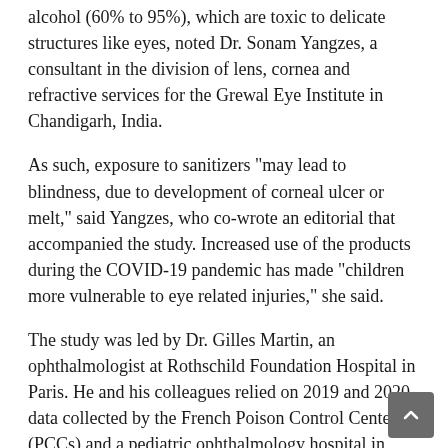alcohol (60% to 95%), which are toxic to delicate structures like eyes, noted Dr. Sonam Yangzes, a consultant in the division of lens, cornea and refractive services for the Grewal Eye Institute in Chandigarh, India.
As such, exposure to sanitizers "may lead to blindness, due to development of corneal ulcer or melt," said Yangzes, who co-wrote an editorial that accompanied the study. Increased use of the products during the COVID-19 pandemic has made "children more vulnerable to eye related injuries," she said.
The study was led by Dr. Gilles Martin, an ophthalmologist at Rothschild Foundation Hospital in Paris. He and his colleagues relied on 2019 and 2020 data collected by the French Poison Control Centers (PCCs) and a pediatric ophthalmology hospital in Paris.
The review included eye injuries and emergency calls stemming from exposure to hand sanitizer among children under 18.